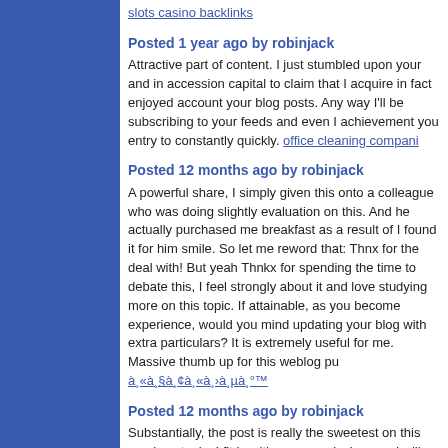slots casino backlinks
Posted 1 year ago by robinjack
Attractive part of content. I just stumbled upon your and in accession capital to claim that I acquire in fact enjoyed account your blog posts. Any way I'll be subscribing to your feeds and even I achievement you entry to constantly quickly. office cleaning companies
Posted 12 months ago by robinjack
A powerful share, I simply given this onto a colleague who was doing slightly evaluation on this. And he actually purchased me breakfast as a result of I found it for him smile. So let me reword that: Thnx for the deal with! But yeah Thnkx for spending the time to debate this, I feel strongly about it and love studying more on this topic. If attainable, as you become experience, would you mind updating your blog with extra particulars? It is extremely useful for me. Massive thumb up for this weblog put up. à¸«à¸§à¸¢à¸«à¸›à¸µà¸°
Posted 12 months ago by robinjack
Substantially, the post is really the sweetest on this precious topic. I fit in with your conclusions and will eagerly look forward to your coming updates. Simply saying thanks will not simply be enough, for the awesome lucidity in your writing. I will at once grab your rss feed to stay abreast of any updates. Genuine work and much success in your business efforts! sixth scale figures
Posted 10 months ago by robinjack